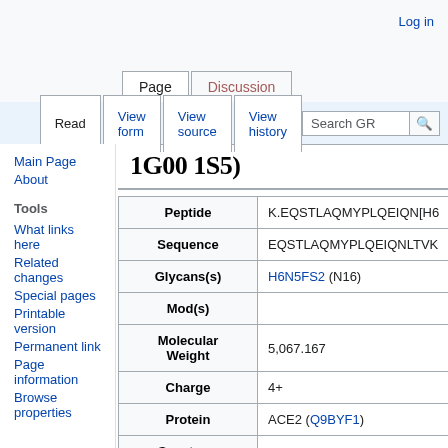Log in
Page | Discussion | Read | View form | View source | View history
1G00 1S5)
| Field | Value |
| --- | --- |
| Peptide | K.EQSTLAQMYPLQEIQN[H6... |
| Sequence | EQSTLAQMYPLQEIQNLTVK... |
| Glycans(s) | H6N5FS2 (N16) |
| Mod(s) |  |
| Molecular Weight | 5,067.167 |
| Charge | 4+ |
| Protein | ACE2 (Q9BYF1) |
| Spectrum File | MS_50_ACE2_Trypsin |
|  | Orbitrap Fusion-Lumos, DDA |
Main Page
About
What links here
Related changes
Special pages
Printable version
Permanent link
Page information
Browse properties